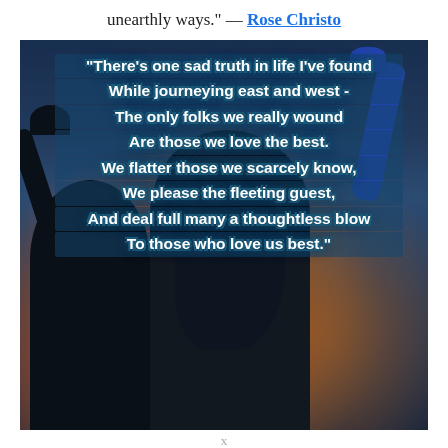unearthly ways." — Rose Christo
[Figure (photo): Two people (silhouettes) with arms raised against a sunset/dusk sky, overlaid with a poem about love and wounding those closest to us.]
x